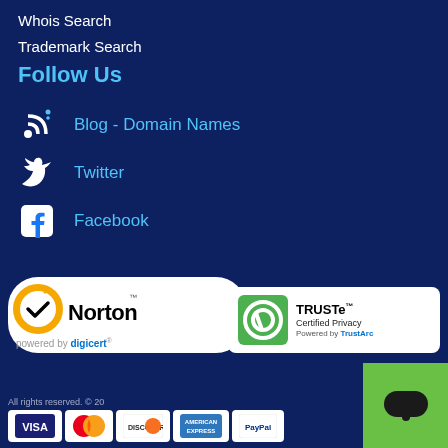Whois Search
Trademark Search
Follow Us
Blog - Domain Names
Twitter
Facebook
[Figure (logo): Norton security badge powered by DigiCert]
[Figure (logo): TRUSTe Certified Privacy Powered by TrustArc badge]
[Figure (logo): Payment method icons: Visa, Mastercard, Discover, American Express, PayPal]
All rights reserved. © 20...